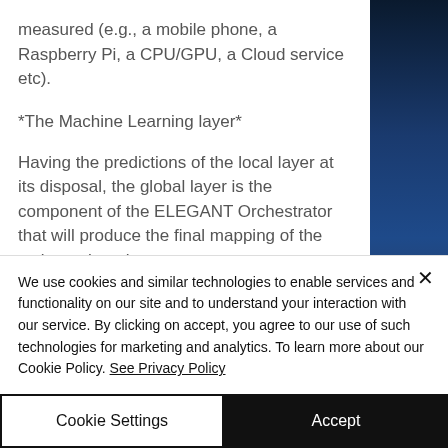measured (e.g., a mobile phone, a Raspberry Pi, a CPU/GPU, a Cloud service etc).
*The Machine Learning layer*
Having the predictions of the local layer at its disposal, the global layer is the component of the ELEGANT Orchestrator that will produce the final mapping of the task graph to the
We use cookies and similar technologies to enable services and functionality on our site and to understand your interaction with our service. By clicking on accept, you agree to our use of such technologies for marketing and analytics. To learn more about our Cookie Policy. See Privacy Policy